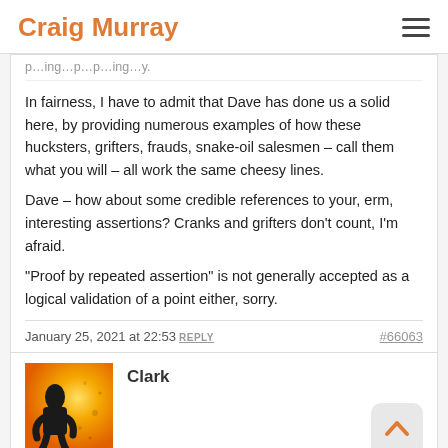Craig Murray
In fairness, I have to admit that Dave has done us a solid here, by providing numerous examples of how these hucksters, grifters, frauds, snake-oil salesmen – call them what you will – all work the same cheesy lines.

Dave – how about some credible references to your, erm, interesting assertions? Cranks and grifters don't count, I'm afraid.

"Proof by repeated assertion" is not generally accepted as a logical validation of a point either, sorry.
January 25, 2021 at 22:53 REPLY  #66063
Clark
[Figure (photo): Avatar image for commenter Clark, showing a silhouette figure against a yellow/orange background]
Dave, rather than a YouTube link where anyone can post anything,